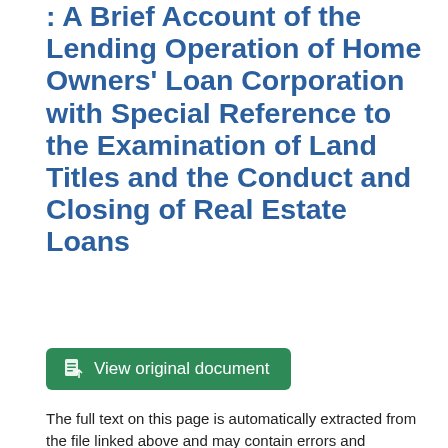: A Brief Account of the Lending Operation of Home Owners' Loan Corporation with Special Reference to the Examination of Land Titles and the Conduct and Closing of Real Estate Loans
[Figure (other): Green button labeled 'View original document' with a document icon]
The full text on this page is automatically extracted from the file linked above and may contain errors and